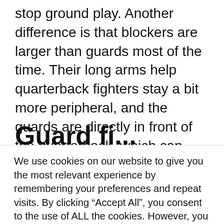stop ground play. Another difference is that blockers are larger than guards most of the time. Their long arms help quarterback fighters stay a bit more peripheral, and the guards are directly in front of the quarterback, which can obscure his line of sight. The fact that the guards are therefore slightly smaller is desirable.
Guard fighters and...
We use cookies on our website to give you the most relevant experience by remembering your preferences and repeat visits. By clicking “Accept All”, you consent to the use of ALL the cookies. However, you may visit "Cookie Settings" to provide a controlled consent.